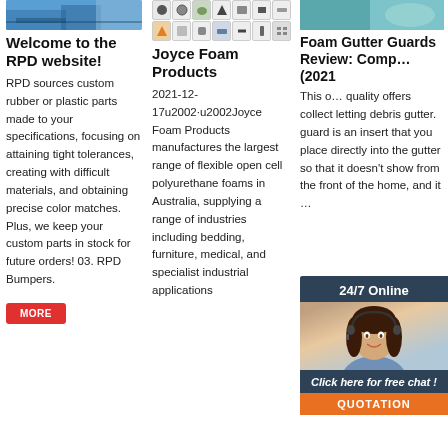[Figure (photo): Photo of industrial/manufacturing equipment with blue tones, top of column 1]
[Figure (infographic): Grid of small icons representing various product categories, two rows, top of column 2]
[Figure (photo): Partial photo with teal/green tones, top right column 3]
Welcome to the RPD website!
RPD sources custom rubber or plastic parts made to your specifications, focusing on attaining tight tolerances, creating with difficult materials, and obtaining precise color matches. Plus, we keep your custom parts in stock for future orders! 03. RPD Bumpers.
Joyce Foam Products
2021-12-17u2002·u2002Joyce Foam Products manufactures the largest range of flexible open cell polyurethane foams in Australia, supplying a range of industries including bedding, furniture, medical, and specialist industrial applications
Foam Gutter Guards Review: Comp… (2021
This o… quality offers collect letting debris gutter. guard is an insert that you place directly into the gutter so that it doesn't show from the front of the home, and it …
[Figure (infographic): Chat widget overlay: 24/7 Online header, photo of woman with headset, Click here for free chat!, QUOTATION button]
[Figure (logo): TOP logo with red dots decoration, bottom right area]